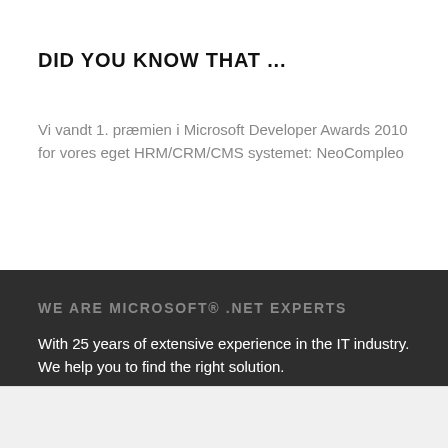DID YOU KNOW THAT ...
Vi vandt 1. præmien i Microsoft Developer Awards 2010 for vores eget HRM/CRM/CMS systemet: NeoCompleo
WE ARE MICROSOFT® .NET EXPERTS
With 25 years of extensive experience in the IT industry. We help you to find the right solution.
This website uses cookies to remember your settings and statistics. The information is shared with third parties. Read more